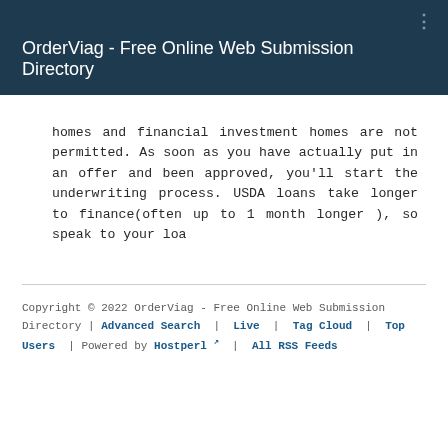OrderViag - Free Online Web Submission Directory
homes and financial investment homes are not permitted. As soon as you have actually put in an offer and been approved, you'll start the underwriting process. USDA loans take longer to finance(often up to 1 month longer ), so speak to your loa
Copyright © 2022 OrderViag - Free Online Web Submission Directory | Advanced Search | Live | Tag Cloud | Top Users | Powered by Hostperl | All RSS Feeds